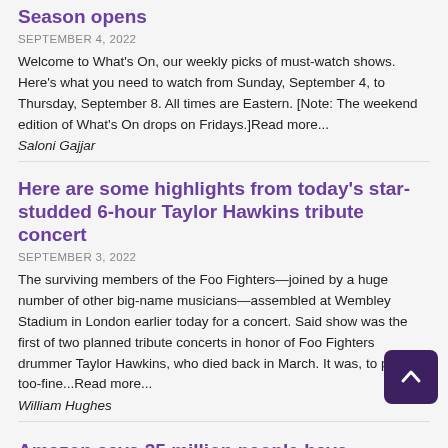Season opens
SEPTEMBER 4, 2022
Welcome to What's On, our weekly picks of must-watch shows. Here's what you need to watch from Sunday, September 4, to Thursday, September 8. All times are Eastern. [Note: The weekend edition of What's On drops on Fridays.]Read more...
Saloni Gajjar
Here are some highlights from today's star-studded 6-hour Taylor Hawkins tribute concert
SEPTEMBER 3, 2022
The surviving members of the Foo Fighters—joined by a huge number of other big-name musicians—assembled at Wembley Stadium in London earlier today for a concert. Said show was the first of two planned tribute concerts in honor of Foo Fighters drummer Taylor Hawkins, who died back in March. It was, to put not-too-fine...Read more...
William Hughes
Amazon says 25 million people have already watched Lord Of The Rings